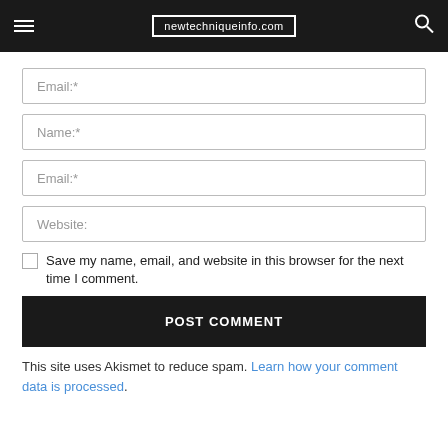newtechniqueinfo.com
[Figure (screenshot): Website comment form with Name, Email, Website fields, a checkbox for saving browser info, a POST COMMENT button, and an Akismet spam notice]
Name:*
Email:*
Website:
Save my name, email, and website in this browser for the next time I comment.
POST COMMENT
This site uses Akismet to reduce spam. Learn how your comment data is processed.